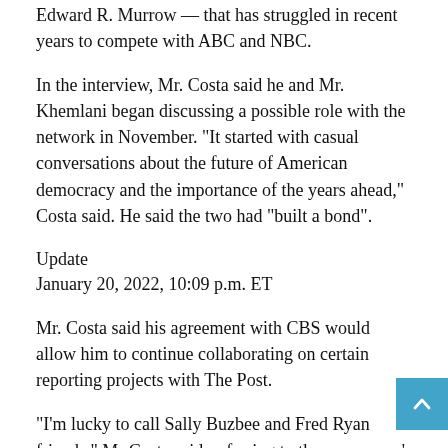Edward R. Murrow — that has struggled in recent years to compete with ABC and NBC.
In the interview, Mr. Costa said he and Mr. Khemlani began discussing a possible role with the network in November. "It started with casual conversations about the future of American democracy and the importance of the years ahead," Costa said. He said the two had "built a bond".
Update
January 20, 2022, 10:09 p.m. ET
Mr. Costa said his agreement with CBS would allow him to continue collaborating on certain reporting projects with The Post.
"I'm lucky to call Sally Buzbee and Fred Ryan friends," Mr Costa said, referring to the newspaper's editor and publisher. "These are people I have worked closely with, and I appreciate their support for this decision."